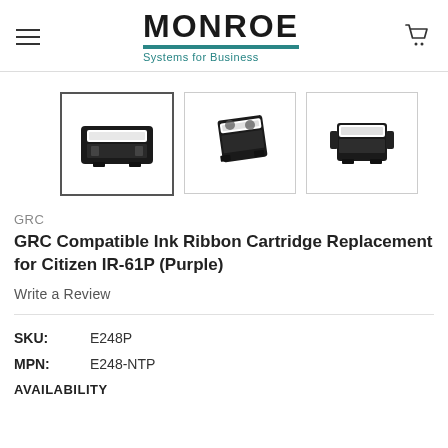MONROE Systems for Business
[Figure (photo): Three product thumbnail images of GRC Compatible Ink Ribbon Cartridge shown from different angles. First image (selected/highlighted with border) shows front view, second shows angled view, third shows side/perspective view.]
GRC
GRC Compatible Ink Ribbon Cartridge Replacement for Citizen IR-61P (Purple)
Write a Review
SKU:   E248P
MPN:   E248-NTP
AVAILABILITY